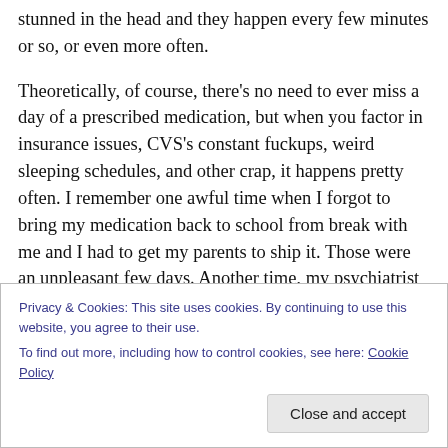stunned in the head and they happen every few minutes or so, or even more often.
Theoretically, of course, there's no need to ever miss a day of a prescribed medication, but when you factor in insurance issues, CVS's constant fuckups, weird sleeping schedules, and other crap, it happens pretty often. I remember one awful time when I forgot to bring my medication back to school from break with me and I had to get my parents to ship it. Those were an unpleasant few days. Another time, my psychiatrist refused to renew my
Privacy & Cookies: This site uses cookies. By continuing to use this website, you agree to their use.
To find out more, including how to control cookies, see here: Cookie Policy